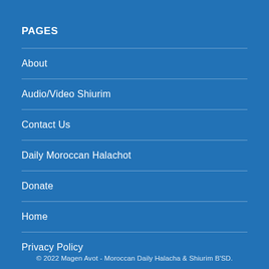PAGES
About
Audio/Video Shiurim
Contact Us
Daily Moroccan Halachot
Donate
Home
Privacy Policy
© 2022 Magen Avot - Moroccan Daily Halacha & Shiurim B'SD.